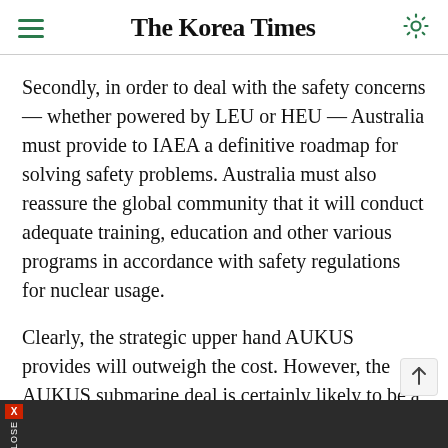The Korea Times
Secondly, in order to deal with the safety concerns — whether powered by LEU or HEU — Australia must provide to IAEA a definitive roadmap for solving safety problems. Australia must also reassure the global community that it will conduct adequate training, education and other various programs in accordance with safety regulations for nuclear usage.
Clearly, the strategic upper hand AUKUS provides will outweigh the cost. However, the AUKUS submarine deal is certainly likely to be a catalyst for nuclear proliferation. Australia must take the aforementioned two measures to solve this upcoming